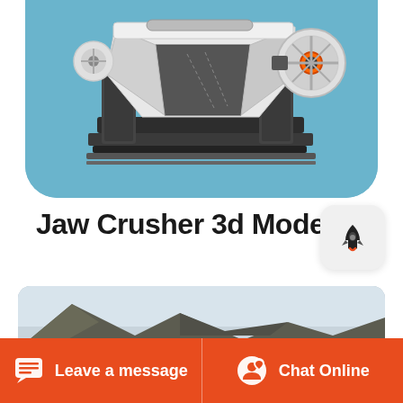[Figure (photo): 3D render of a jaw crusher machine on a light blue background, showing white and dark grey metal frame structure with orange flywheel accent]
Jaw Crusher 3d Model
[Figure (photo): Landscape photo showing rocky mountains and cloudy sky]
Leave a message
Chat Online